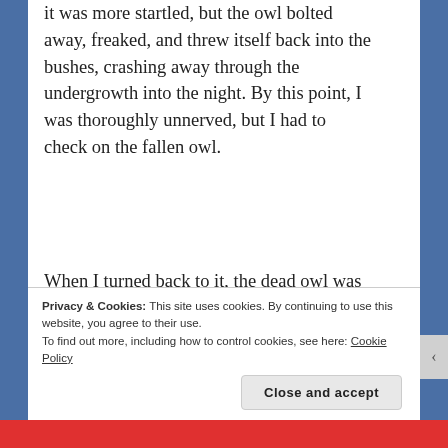it was more startled, but the owl bolted away, freaked, and threw itself back into the bushes, crashing away through the undergrowth into the night. By this point, I was thoroughly unnerved, but I had to check on the fallen owl.
When I turned back to it, the dead owl was now standing in the middle of the road, staring right at me, its big black eyes shining like obsidian in my headlights. It was only a few feet away and the forest had gone unnaturally quiet. It was horribly eerie, like I'd awakened whatever demonic soul inhabited its avian body.
Privacy & Cookies: This site uses cookies. By continuing to use this website, you agree to their use.
To find out more, including how to control cookies, see here: Cookie Policy
Close and accept